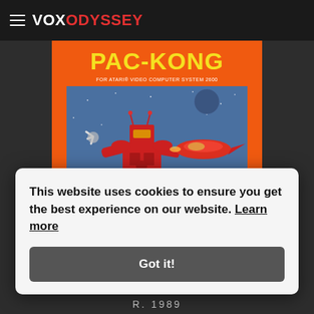VOX ODYSSEY
[Figure (illustration): Pac-Kong Atari 2600 video game cartridge box art. Orange background with large yellow bold text 'PAC-KONG' and subtitle 'FOR ATARI VIDEO COMPUTER SYSTEM 2600'. Features a blue illustrated scene with a large red robot/mech, a spaceship, and other sci-fi elements.]
R. 1989
This website uses cookies to ensure you get the best experience on our website. Learn more
Got it!